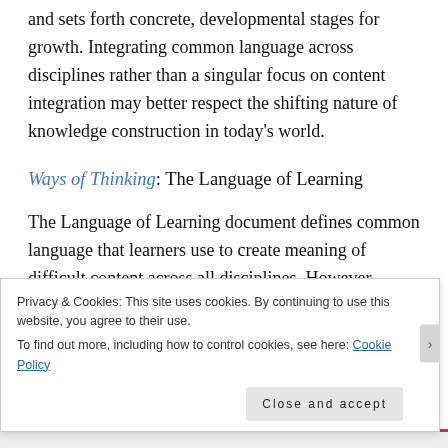and sets forth concrete, developmental stages for growth. Integrating common language across disciplines rather than a singular focus on content integration may better respect the shifting nature of knowledge construction in today's world.
Ways of Thinking: The Language of Learning
The Language of Learning document defines common language that learners use to create meaning of difficult content across all disciplines. However, learners need strategies in order to manipulate this language. One such…
Privacy & Cookies: This site uses cookies. By continuing to use this website, you agree to their use.
To find out more, including how to control cookies, see here: Cookie Policy